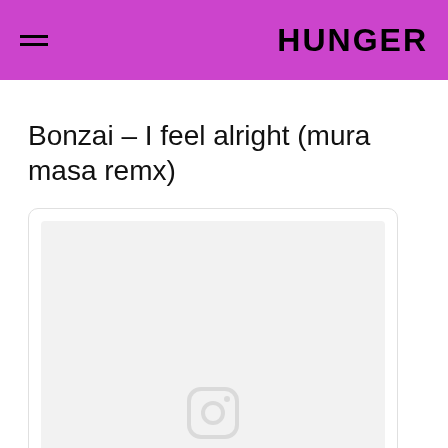HUNGER
Bonzai – I feel alright (mura masa remx)
[Figure (screenshot): Embedded social media card with a light grey placeholder image and an Instagram camera icon at the bottom center]